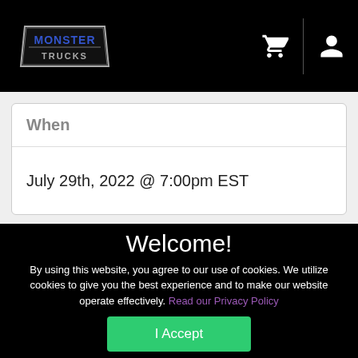Monster Trucks navigation bar with logo, cart icon, and account icon
When
July 29th, 2022 @ 7:00pm EST
Welcome!
By using this website, you agree to our use of cookies. We utilize cookies to give you the best experience and to make our website operate effectively. Read our Privacy Policy
I Accept